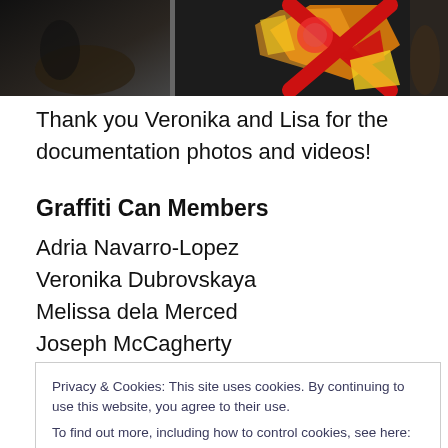[Figure (photo): A dark photograph banner split into two sections showing graffiti/street art imagery]
Thank you Veronika and Lisa for the documentation photos and videos!
Graffiti Can Members
Adria Navarro-Lopez
Veronika Dubrovskaya
Melissa dela Merced
Joseph McCagherty
Privacy & Cookies: This site uses cookies. By continuing to use this website, you agree to their use. To find out more, including how to control cookies, see here: Cookie Policy
[Figure (screenshot): LinkedIn View my profile button/banner at the bottom]